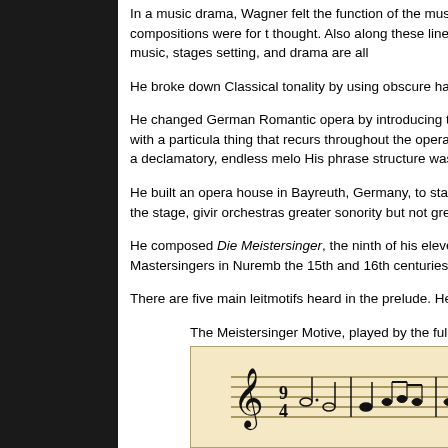In a music drama, Wagner felt the function of the music was to serve dramatic expression. The only important compositions were for the thought. Also along these lines was his conception of a Gesamku art work), where words, music, stages setting, and drama are all
He broke down Classical tonality by using obscure harmonic pro chords, irregular resolutions, or unresolved chords.
He changed German Romantic opera by introducing the leitmotif leitmotif is a musical theme or motive associated with a particula thing that recurs throughout the opera. He also enlarged his orch Rejecting "number" opera, he used a declamatory, endless melo His phrase structure was asymetrical, overlapped, and used step motion.
He built an opera house in Bayreuth, Germany, to stage his oper building aspect is the orchestra pit situated under the stage, givir orchestras greater sonority but not greater volume.
He composed Die Meistersinger, the ninth of his eleven operas, 1862-67. The story involves the guild of Mastersingers in Nuremb the 15th and 16th centuries.
There are five main leitmotifs heard in the prelude. Heard in this
The Meistersinger Motive, played by the full orchestra.
[Figure (illustration): Sheet music score showing the Meistersinger Motive musical notation on staff lines with handwritten notes]
The Meistersinger Motive, the first heard in the first theme,